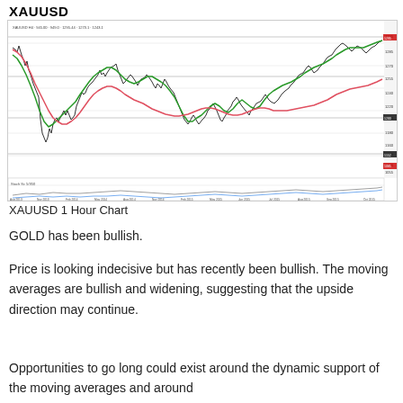XAUUSD
[Figure (continuous-plot): XAUUSD 1 Hour candlestick chart with two moving averages (green and red/pink), showing price action over an extended period. Price peaks, troughs, and moving average crossovers are visible. A stochastic oscillator sub-panel appears at the bottom. Y-axis shows price levels from approximately 1050 to 1295.]
XAUUSD 1 Hour Chart
GOLD has been bullish.
Price is looking indecisive but has recently been bullish. The moving averages are bullish and widening, suggesting that the upside direction may continue.
Opportunities to go long could exist around the dynamic support of the moving averages and around